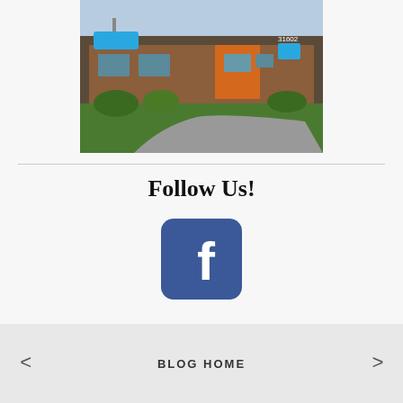[Figure (photo): Exterior photo of a dental office building with a sign, brick facade, and landscaped lawn with a circular driveway]
Follow Us!
[Figure (logo): Facebook logo icon - blue rounded square with white letter f]
< BLOG HOME >